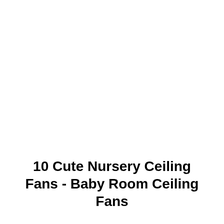10 Cute Nursery Ceiling Fans - Baby Room Ceiling Fans